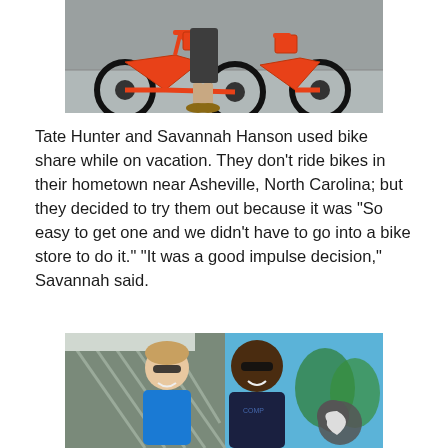[Figure (photo): Orange bike share bicycles parked, with person's legs visible standing beside them on pavement]
Tate Hunter and Savannah Hanson used bike share while on vacation. They don't ride bikes in their hometown near Asheville, North Carolina; but they decided to try them out because it was “So easy to get one and we didn’t have to go into a bike store to do it.” “It was a good impulse decision,” Savannah said.
[Figure (photo): A smiling woman in a blue shirt and a smiling man in a dark shirt, both wearing sunglasses, posed in front of a bridge structure with blue sky visible. A crescent moon icon appears in the bottom right corner.]